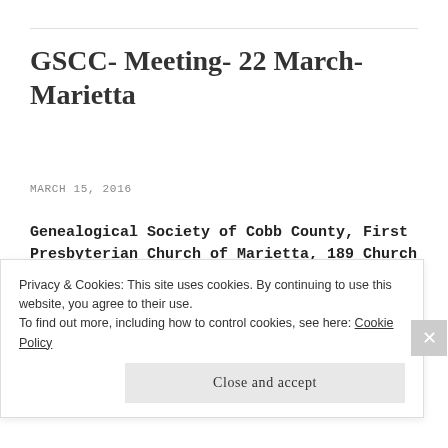GSCC- Meeting- 22 March- Marietta
MARCH 15, 2016
Genealogical Society of Cobb County, First Presbyterian Church of Marietta, 189 Church Street, Marietta, GA
7 pm – Speaker: Jennifer Patterson Dondero
Privacy & Cookies: This site uses cookies. By continuing to use this website, you agree to their use.
To find out more, including how to control cookies, see here: Cookie Policy
Close and accept